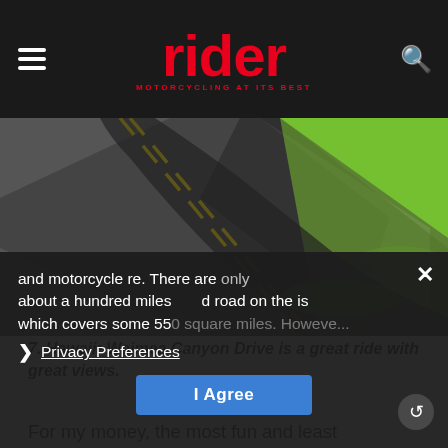rider — MOTORCYCLING AT ITS BEST
[Figure (photo): Curved asphalt road with yellow center lines, bordered by bright green grass on the right side, shot from low angle showing the road sweeping away into the distance.]
7. Hawaii: Waimea Canyon Drive is a great ride with great views.
For my money, the most fun and least populated island in the archipelago/state of Hawaii is Kauai— and motorcycle r... e. There are only about a hundred miles of paved road on the is... which covers some 550 square miles. Howeve...